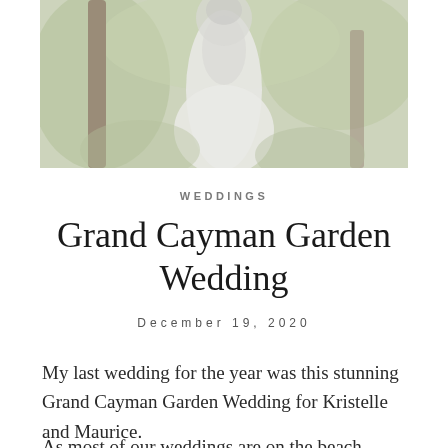[Figure (photo): Wedding photo of a bride in a white/grey gown standing outdoors in a garden or natural setting with trees and greenery in the background. Image is cropped at the top of the page.]
WEDDINGS
Grand Cayman Garden Wedding
December 19, 2020
My last wedding for the year was this stunning Grand Cayman Garden Wedding for Kristelle and Maurice.
As most of our weddings are on the beach